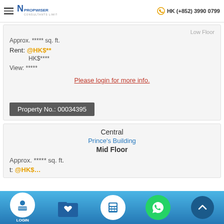Propwiser Consultants Limited — HK (+852) 3990 0799
Low Floor
Approx. ***** sq. ft.
Rent: @HK$**
HK$****
View: *****
Please login for more info.
Property No.: 00034395
Central
Prince's Building
Mid Floor
Approx. ***** sq. ft.
t: @HK$...